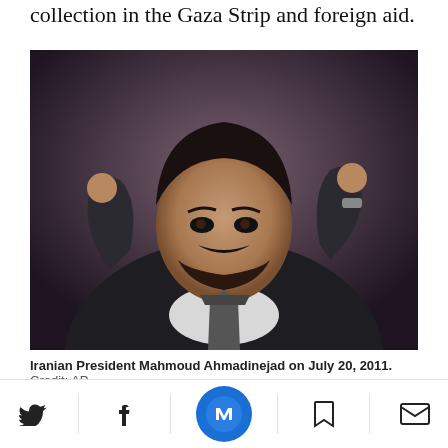collection in the Gaza Strip and foreign aid.
[Figure (photo): Iranian President Mahmoud Ahmadinejad speaking at a podium with microphones, raising both hands, wearing a dark suit, photographed on July 20, 2011.]
Iranian President Mahmoud Ahmadinejad on July 20, 2011.  Credit: AP
The West refuses to have diplomatic relations with the group because it refuses to recognize
Twitter | Facebook | Newsweek | Bookmark | Email